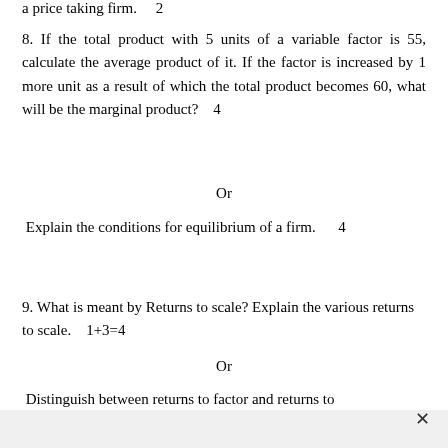a price taking firm.    2
8. If the total product with 5 units of a variable factor is 55, calculate the average product of it. If the factor is increased by 1 more unit as a result of which the total product becomes 60, what will be the marginal product?    4
Or
Explain the conditions for equilibrium of a firm.    4
9. What is meant by Returns to scale? Explain the various returns to scale.    1+3=4
Or
Distinguish between returns to factor and returns to scale.    4